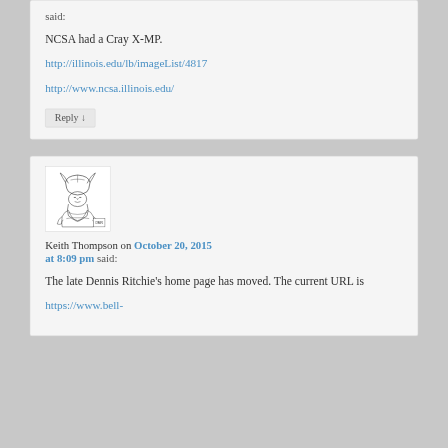said:
NCSA had a Cray X-MP.
http://illinois.edu/lb/imageList/4817
http://www.ncsa.illinois.edu/
Reply ↓
[Figure (illustration): Avatar image of a viking/warrior character illustration in black and white ink style]
Keith Thompson on October 20, 2015 at 8:09 pm said:
The late Dennis Ritchie's home page has moved. The current URL is
https://www.bell-